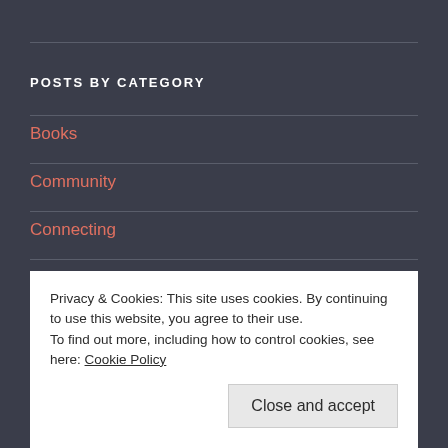POSTS BY CATEGORY
Books
Community
Connecting
Conversations
Grammar Stories
Resource Reviews
Privacy & Cookies: This site uses cookies. By continuing to use this website, you agree to their use.
To find out more, including how to control cookies, see here: Cookie Policy
Close and accept